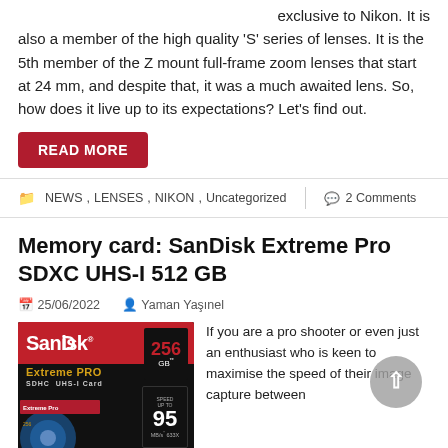exclusive to Nikon. It is also a member of the high quality 'S' series of lenses. It is the 5th member of the Z mount full-frame zoom lenses that start at 24 mm, and despite that, it was a much awaited lens. So, how does it live up to its expectations? Let's find out.
READ MORE
NEWS, LENSES, NIKON, Uncategorized  |  2 Comments
Memory card: SanDisk Extreme Pro SDXC UHS-I 512 GB
25/06/2022   Yaman Yaşınel
[Figure (photo): SanDisk Extreme PRO SDHC UHS-I Card 256 GB, Speed Up To 95 MB/s 633X product image]
If you are a pro shooter or even just an enthusiast who is keen to maximise the speed of their image capture between